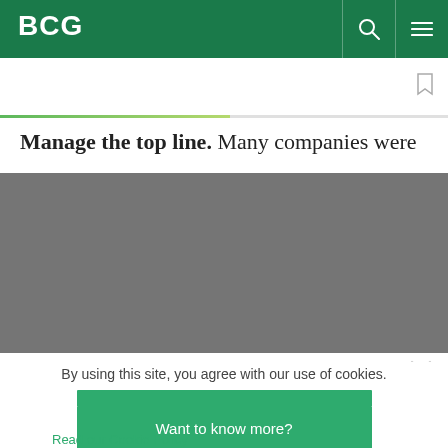BCG
Manage the top line. Many companies were
Featured Insights: BCG's most inspiring thought leadership on issues shaping the future of business and society. →
protected by reCaptcha
By using this site, you agree with our use of cookies.
I consent to cookies
Want to know more?
Read our Cookie Policy